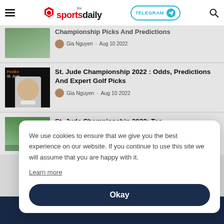the sportsdaily — TELEGRAM — search
Championship Picks And Predictions
Gia Nguyen · Aug 10 2022
St. Jude Championship 2022 : Odds, Predictions And Expert Golf Picks
Gia Nguyen · Aug 10 2022
St. Jude Championship 2022: Tee Times, Pairings, Complete Word...
We use cookies to ensure that we give you the best experience on our website. If you continue to use this site we will assume that you are happy with it.
Learn more
Okay